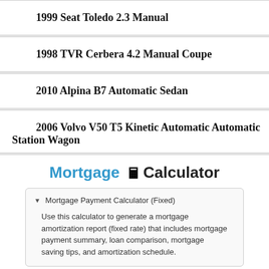1999 Seat Toledo 2.3 Manual
1998 TVR Cerbera 4.2 Manual Coupe
2010 Alpina B7 Automatic Sedan
2006 Volvo V50 T5 Kinetic Automatic Automatic Station Wagon
Mortgage Calculator
Mortgage Payment Calculator (Fixed)
Use this calculator to generate a mortgage amortization report (fixed rate) that includes mortgage payment summary, loan comparison, mortgage saving tips, and amortization schedule.